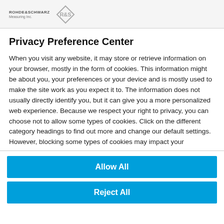ROHDE & SCHWARZ Measuring Inc.
Privacy Preference Center
When you visit any website, it may store or retrieve information on your browser, mostly in the form of cookies. This information might be about you, your preferences or your device and is mostly used to make the site work as you expect it to. The information does not usually directly identify you, but it can give you a more personalized web experience. Because we respect your right to privacy, you can choose not to allow some types of cookies. Click on the different category headings to find out more and change our default settings. However, blocking some types of cookies may impact your
Allow All
Reject All